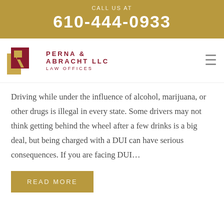CALL US AT
610-444-0933
[Figure (logo): Perna & Abracht LLC Law Offices logo with stylized PR monogram in red and gold]
Driving while under the influence of alcohol, marijuana, or other drugs is illegal in every state. Some drivers may not think getting behind the wheel after a few drinks is a big deal, but being charged with a DUI can have serious consequences. If you are facing DUI…
READ MORE